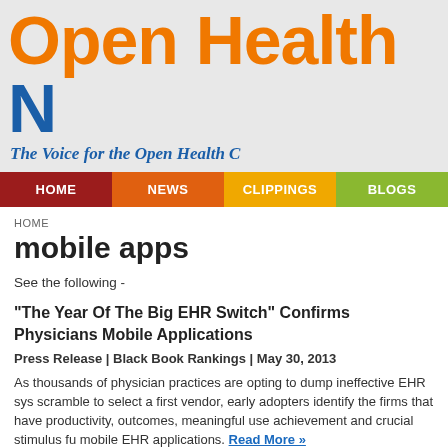Open Health N
The Voice for the Open Health C
HOME | NEWS | CLIPPINGS | BLOGS
HOME
mobile apps
See the following -
"The Year Of The Big EHR Switch" Confirms Physicians Mobile Applications
Press Release | Black Book Rankings | May 30, 2013
As thousands of physician practices are opting to dump ineffective EHR sys... scramble to select a first vendor, early adopters identify the firms that have productivity, outcomes, meaningful use achievement and crucial stimulus fu... mobile EHR applications. Read More »
Login to post comments